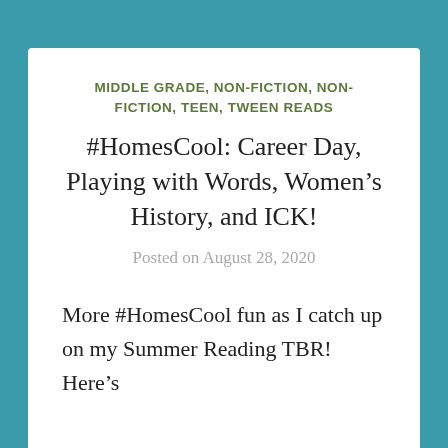MIDDLE GRADE, NON-FICTION, NON-FICTION, TEEN, TWEEN READS
#HomesCool: Career Day, Playing with Words, Women's History, and ICK!
Posted on August 28, 2020
More #HomesCool fun as I catch up on my Summer Reading TBR! Here's